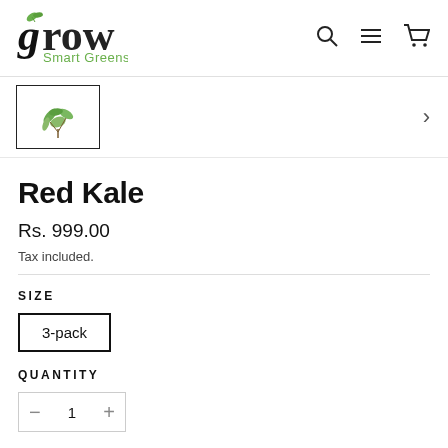grow Smart Greens
[Figure (photo): Thumbnail image of kale plant with a right arrow chevron indicating more images]
Red Kale
Rs. 999.00
Tax included.
SIZE
3-pack
QUANTITY